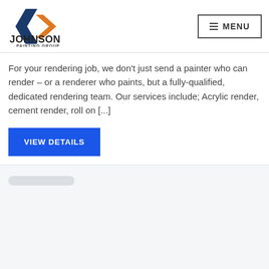JOHNSON PAINTING GROUP | MENU
For your rendering job, we don't just send a painter who can render – or a renderer who paints, but a fully-qualified, dedicated rendering team. Our services include; Acrylic render, cement render, roll on [...]
[Figure (other): Blue VIEW DETAILS button]